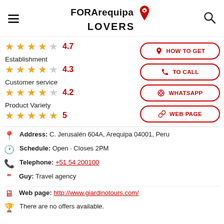FOR Arequipa LOVERS
4.7
Establishment 4.3
Customer service 4.2
Product Variety 5
HOW TO GET
TO CALL
WHATSAPP
WEB PAGE
Address: C. Jerusalén 604A, Arequipa 04001, Peru
Schedule: Open · Closes 2PM
Telephone: +51 54 200100
Guy: Travel agency
Web page: http://www.giardinotours.com/
There are no offers available.